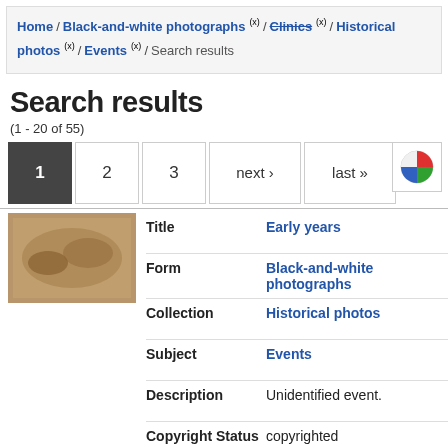Home / Black-and-white photographs (x) / Clinics (x) / Historical photos (x) / Events (x) / Search results
Search results
(1 - 20 of 55)
1  2  3  next ›  last »
| Field | Value |
| --- | --- |
| Title | Early years |
| Form | Black-and-white photographs |
| Collection | Historical photos |
| Subject | Events |
| Description | Unidentified event. |
| Copyright Status | copyrighted |
| Field | Value |
| --- | --- |
| Title | Northwestern College of Chiropractic |